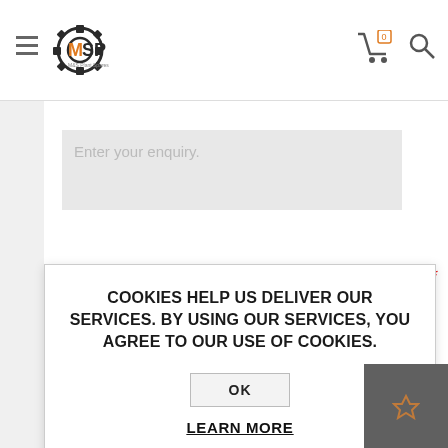[Figure (logo): MSP (M&S Plant Spares) logo with gear icon, orange and dark text]
Enter your enquiry.
COOKIES HELP US DELIVER OUR SERVICES. BY USING OUR SERVICES, YOU AGREE TO OUR USE OF COOKIES.
OK
LEARN MORE
SUBMIT